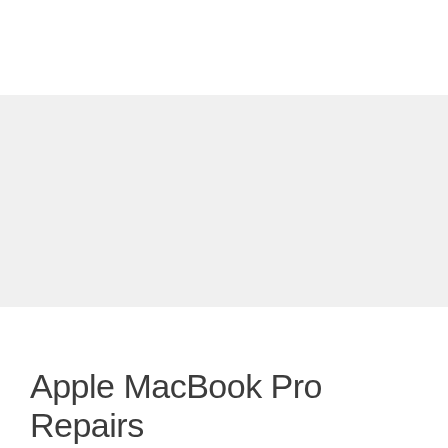[Figure (other): Large light gray placeholder/banner image area]
Apple MacBook Pro Repairs
Your MacBook Pro is in safe hands. KRCS offer